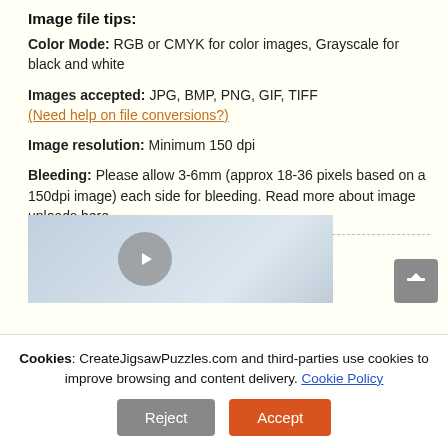Image file tips:
Color Mode: RGB or CMYK for color images, Grayscale for black and white
Images accepted: JPG, BMP, PNG, GIF, TIFF
(Need help on file conversions?)
Image resolution: Minimum 150 dpi
Bleeding: Please allow 3-6mm (approx 18-36 pixels based on a 150dpi image) each side for bleeding. Read more about image uploads here .
Video tutorial:
See how easy it is to use our puzzlemaker
[Figure (screenshot): Video thumbnail preview of puzzlemaker tutorial]
Cookies: CreateJigsawPuzzles.com and third-parties use cookies to improve browsing and content delivery. Cookie Policy